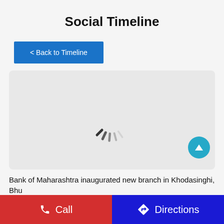Social Timeline
< Back to Timeline
[Figure (screenshot): Loading spinner animation shown on a light gray card background]
Bank of Maharashtra inaugurated new branch in Khodasinghi, Bhu
Call   Directions